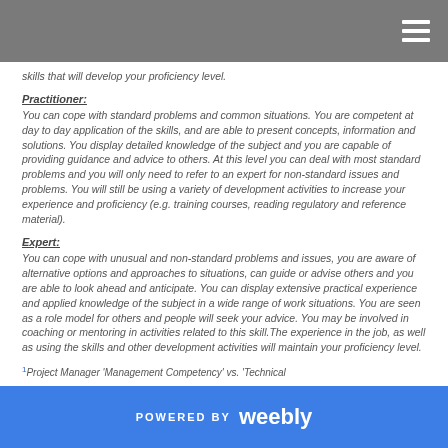skills that will develop your proficiency level.
Practitioner:
You can cope with standard problems and common situations. You are competent at day to day application of the skills, and are able to present concepts, information and solutions. You display detailed knowledge of the subject and you are capable of providing guidance and advice to others. At this level you can deal with most standard problems and you will only need to refer to an expert for non-standard issues and problems. You will still be using a variety of development activities to increase your experience and proficiency (e.g. training courses, reading regulatory and reference material).
Expert:
You can cope with unusual and non-standard problems and issues, you are aware of alternative options and approaches to situations, can guide or advise others and you are able to look ahead and anticipate. You can display extensive practical experience and applied knowledge of the subject in a wide range of work situations. You are seen as a role model for others and people will seek your advice. You may be involved in coaching or mentoring in activities related to this skill.The experience in the job, as well as using the skills and other development activities will maintain your proficiency level.
1 Project Manager 'Management Competency' vs. 'Technical
POWERED BY weebly